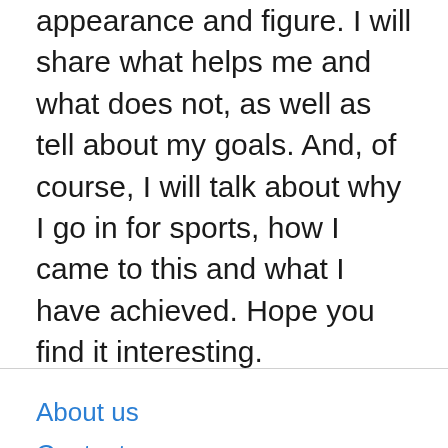appearance and figure. I will share what helps me and what does not, as well as tell about my goals. And, of course, I will talk about why I go in for sports, how I came to this and what I have achieved. Hope you find it interesting.
About us
Contact
Privacy Policy & Cookies
ATTENTION TO RIGHT HOLDERS! All materials are posted on the site strictly for informational and educational purposes! If you believe that the posting of any material